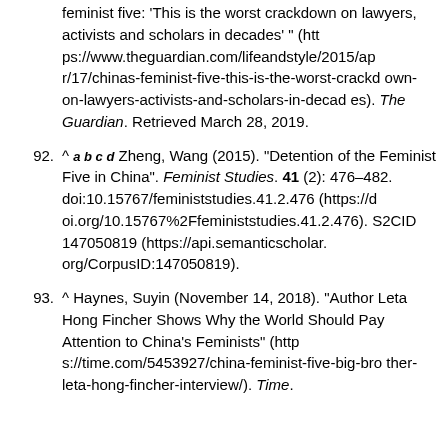feminist five: 'This is the worst crackdown on lawyers, activists and scholars in decades' " (https://www.theguardian.com/lifeandstyle/2015/apr/17/chinas-feminist-five-this-is-the-worst-crackdown-on-lawyers-activists-and-scholars-in-decades). The Guardian. Retrieved March 28, 2019.
92. ^ a b c d Zheng, Wang (2015). "Detention of the Feminist Five in China". Feminist Studies. 41 (2): 476–482. doi:10.15767/feministstudies.41.2.476 (https://doi.org/10.15767%2Ffeministstudies.41.2.476). S2CID 147050819 (https://api.semanticscholar.org/CorpusID:147050819).
93. ^ Haynes, Suyin (November 14, 2018). "Author Leta Hong Fincher Shows Why the World Should Pay Attention to China's Feminists" (https://time.com/5453927/china-feminist-five-big-brother-leta-hong-fincher-interview/). Time.